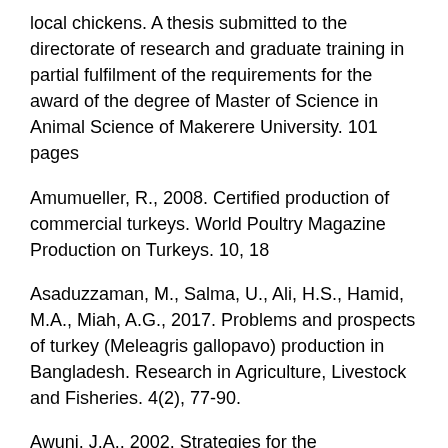local chickens. A thesis submitted to the directorate of research and graduate training in partial fulfilment of the requirements for the award of the degree of Master of Science in Animal Science of Makerere University. 101 pages
Amumueller, R., 2008. Certified production of commercial turkeys. World Poultry Magazine Production on Turkeys. 10, 18
Asaduzzaman, M., Salma, U., Ali, H.S., Hamid, M.A., Miah, A.G., 2017. Problems and prospects of turkey (Meleagris gallopavo) production in Bangladesh. Research in Agriculture, Livestock and Fisheries. 4(2), 77-90.
Awuni, J.A., 2002. Strategies for the improvement of rural chicken production in Ghana. In: Characteristics and Parameters in Family Poultry...